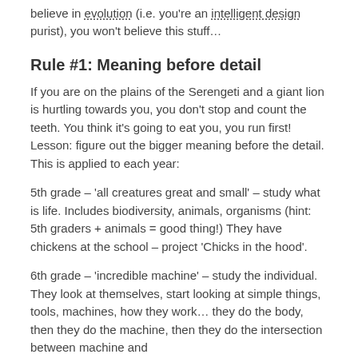believe in evolution (i.e. you're an intelligent design purist), you won't believe this stuff…
Rule #1: Meaning before detail
If you are on the plains of the Serengeti and a giant lion is hurtling towards you, you don't stop and count the teeth.  You think it's going to eat you, you run first!  Lesson: figure out the bigger meaning before the detail.  This is applied to each year:
5th grade – 'all creatures great and small' – study what is life. Includes biodiversity, animals, organisms (hint: 5th graders + animals = good thing!)  They have chickens at the school – project 'Chicks in the hood'.
6th grade – 'incredible machine' – study the individual.  They look at themselves, start looking at simple things, tools, machines, how they work… they do the body, then they do the machine, then they do the intersection between machine and